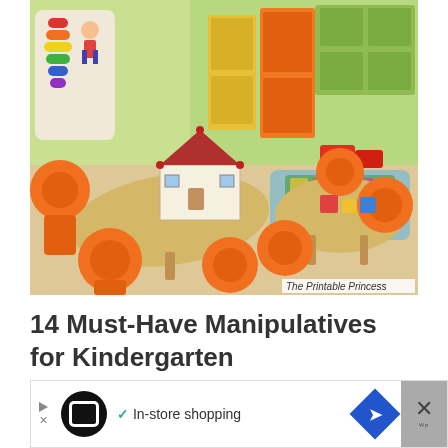[Figure (photo): Kindergarten classroom with orange chairs around wooden tables, a wooden dollhouse on the table, colorful cabinets in the background, and a watermark reading 'The Printable Princess']
The Printable Princess
14 Must-Have Manipulatives for Kindergarten
NEW IN THE SHOP
[Figure (screenshot): Advertisement bar showing a play button, a logo icon, a checkmark with 'In-store shopping' text, a navigation diamond icon, and an X close button]